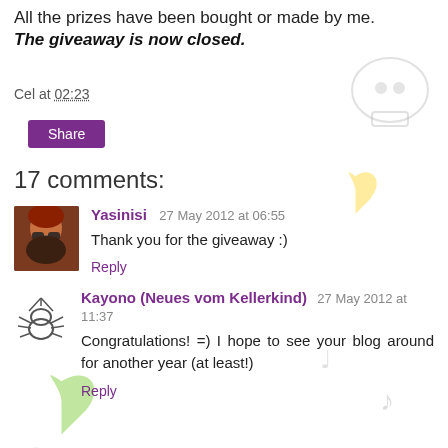All the prizes have been bought or made by me.
The giveaway is now closed.
Cel at 02:23
Share
17 comments:
Yasinisi  27 May 2012 at 06:55
Thank you for the giveaway :)
Reply
Kayono (Neues vom Kellerkind)  27 May 2012 at 11:37
Congratulations! =) I hope to see your blog around for another year (at least!)
Reply